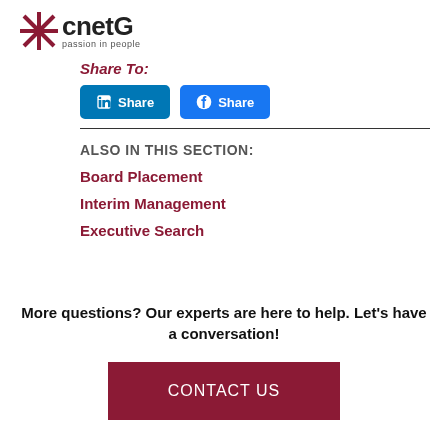[Figure (logo): cnetG logo with star/asterisk icon and tagline 'passion in people']
Share To:
[Figure (screenshot): LinkedIn Share button and Facebook Share button]
ALSO IN THIS SECTION:
Board Placement
Interim Management
Executive Search
More questions? Our experts are here to help. Let's have a conversation!
CONTACT US